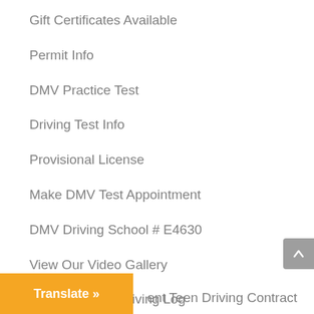Gift Certificates Available
Permit Info
DMV Practice Test
Driving Test Info
Provisional License
Make DMV Test Appointment
DMV Driving School # E4630
View Our Video Gallery
Printable Teen Driving Log
ent Teen Driving Contract